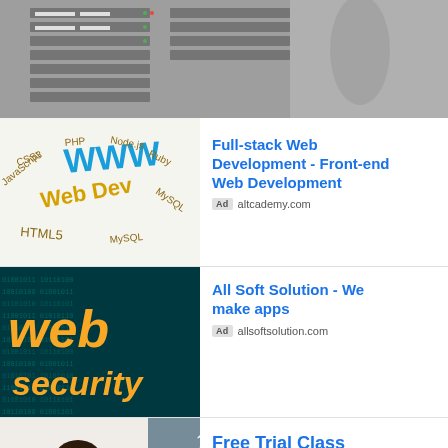[Figure (photo): Server rack equipment photo, grayscale, top banner]
[Figure (photo): 3D web development text collage with WWW, PHP, Node.js, Ruby, MySQL, HTML5, CSS, JavaScript, Web Dev]
Full-stack Web Development - Front-end Web Development
Ad altcademy.com
[Figure (photo): Web security digital background with yellow text 'web security' on dark teal binary code background]
All Soft Solution - We make apps
Ad allsoftsolution.com
[Figure (photo): Woman holding produce with Free Trial Class ribbon banner in corner]
Free Trial Class
Ad Trinity School